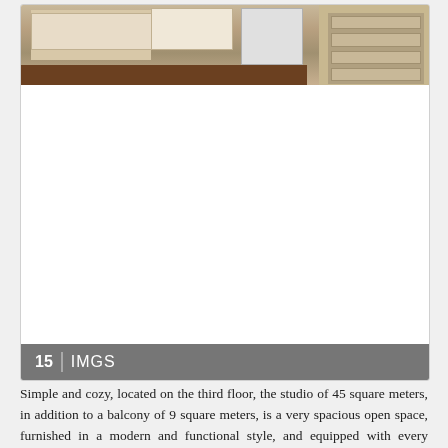[Figure (photo): Interior photo of a kitchen area showing white upper cabinets, shelving units on the right side with items, and a dark wooden floor. The image is partially visible at the top of the card.]
15 IMGS
Simple and cozy, located on the third floor, the studio of 45 square meters, in addition to a balcony of 9 square meters, is a very spacious open space, furnished in a modern and functional style, and equipped with every comfort, can